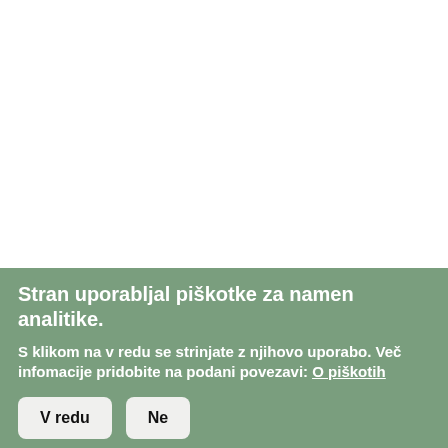[Figure (other): White empty area at the top of the page, representing a webpage screenshot background.]
Stran uporabljal piškotke za namen analitike.
S klikom na v redu se strinjate z njihovo uporabo. Več infomaciji pridobite na podani povezavi: O piškotih
V redu   Ne